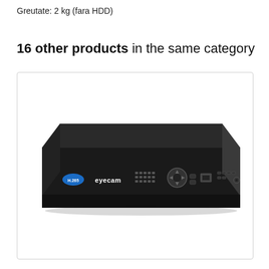Greutate: 2 kg (fara HDD)
16 other products in the same category
[Figure (photo): A black DVR recorder device (Eyecam brand, H.265) shown from a front-angle perspective, with front panel controls including buttons, USB port, and navigation wheel.]